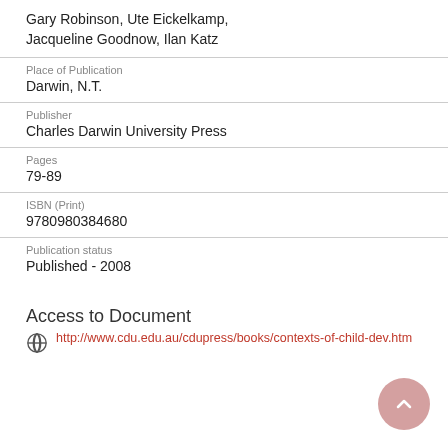Gary Robinson, Ute Eickelkamp, Jacqueline Goodnow, Ilan Katz
Place of Publication
Darwin, N.T.
Publisher
Charles Darwin University Press
Pages
79-89
ISBN (Print)
9780980384680
Publication status
Published - 2008
Access to Document
http://www.cdu.edu.au/cdupress/books/contexts-of-child-dev.htm